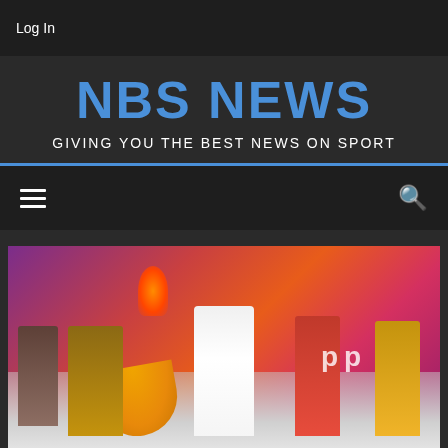Log In
NBS NEWS
GIVING YOU THE BEST NEWS ON SPORT
[Figure (photo): A female performer in a white fringed outfit dancing on stage with backup dancers in yellow and red/pink costumes, with Pepsi branding visible in the background and colorful stage lighting]